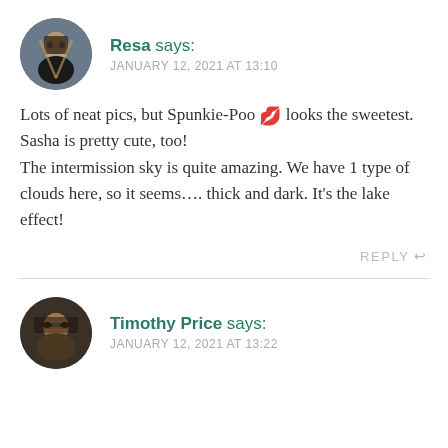Resa says: JANUARY 12, 2021 AT 13:10
Lots of neat pics, but Spunkie-Poo 💋 looks the sweetest.
Sasha is pretty cute, too!
The intermission sky is quite amazing. We have 1 type of clouds here, so it seems.... thick and dark. It's the lake effect!
REPLY
Timothy Price says: JANUARY 12, 2021 AT 13:22